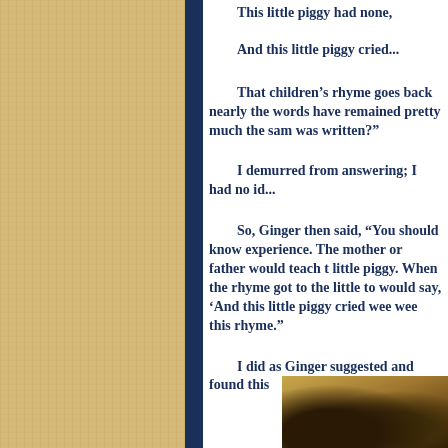This little piggy had none,
And this little piggy cried...
That children's rhyme goes back nearly the words have remained pretty much the same was written?
I demurred from answering; I had no id...
So, Ginger then said, “You should know experience. The mother or father would teach t little piggy. When the rhyme got to the little to would say, ‘And this little piggy cried wee wee this rhyme.”
I did as Ginger suggested and found this
[Figure (photo): Close-up photo of old book pages, curved and yellowed]